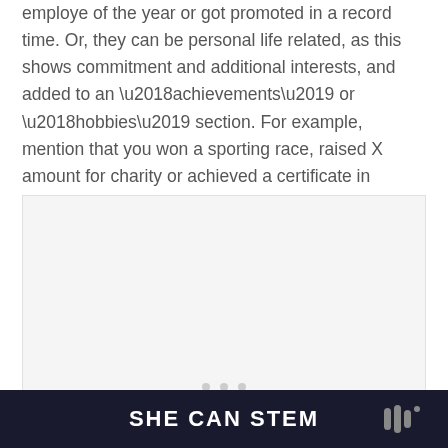employe of the year or got promoted in a record time. Or, they can be personal life related, as this shows commitment and additional interests, and added to an ‘achievements’ or ‘hobbies’ section. For example, mention that you won a sporting race, raised X amount for charity or achieved a certificate in sailing.
[Figure (other): A light grey placeholder image box with three dots at the bottom center indicating a carousel or image slideshow.]
SHE CAN STEM